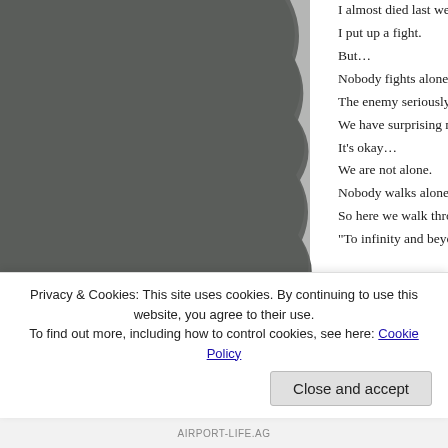[Figure (photo): A torn or rough-edged dark gray photographic image occupying the left portion of the page, showing an abstract or textured surface.]
I almost died last wee
I put up a fight.
But…
Nobody fights alone.
The enemy seriously
We have surprising m
It's okay…
We are not alone.
Nobody walks alone.
So here we walk thro
“To infinity and beyon
[Figure (illustration): A bold right-pointing arrow icon followed by the word 'Love' in large red bold text.]
Privacy & Cookies: This site uses cookies. By continuing to use this website, you agree to their use. To find out more, including how to control cookies, see here: Cookie Policy
Close and accept
AIRPORT-LIFE.AG